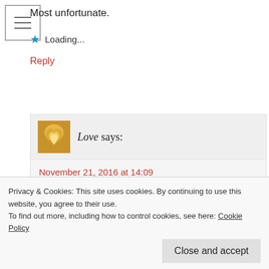Most unfortunate.
Loading...
Reply
Love says:
November 21, 2016 at 14:09
Very true. If both parties are consenting and aware of the nature of the relationship, then they can negotiate like a business deal. In that aspect, the mistress would benefit and probably
Privacy & Cookies: This site uses cookies. By continuing to use this website, you agree to their use.
To find out more, including how to control cookies, see here: Cookie Policy
Close and accept